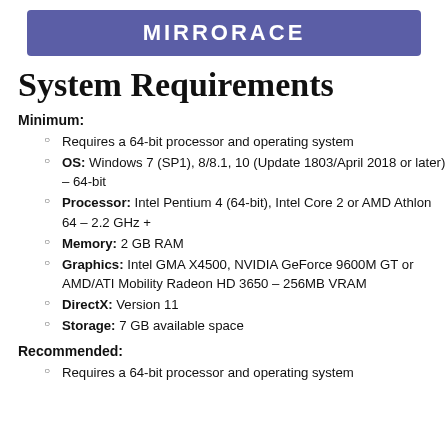MIRRORACE
System Requirements
Minimum:
Requires a 64-bit processor and operating system
OS: Windows 7 (SP1), 8/8.1, 10 (Update 1803/April 2018 or later) – 64-bit
Processor: Intel Pentium 4 (64-bit), Intel Core 2 or AMD Athlon 64 – 2.2 GHz +
Memory: 2 GB RAM
Graphics: Intel GMA X4500, NVIDIA GeForce 9600M GT or AMD/ATI Mobility Radeon HD 3650 – 256MB VRAM
DirectX: Version 11
Storage: 7 GB available space
Recommended:
Requires a 64-bit processor and operating system